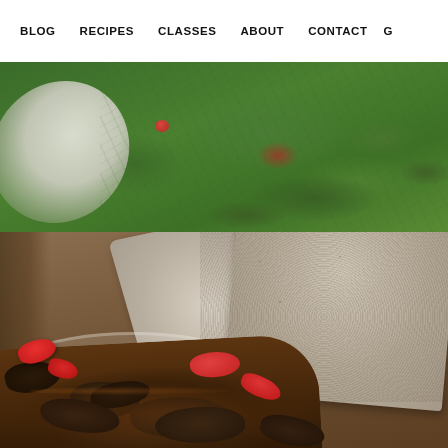BLOG   RECIPES   CLASSES   ABOUT   CONTACT   G
[Figure (photo): Top half: overhead photo of a kale salad in a white bowl with red tomatoes, on a dark background. Bottom half: close-up photo of caponata (roasted eggplant and red peppers in dark sauce) served in a white dish alongside thick slices of rustic whole-grain bread, on a dark wooden surface.]